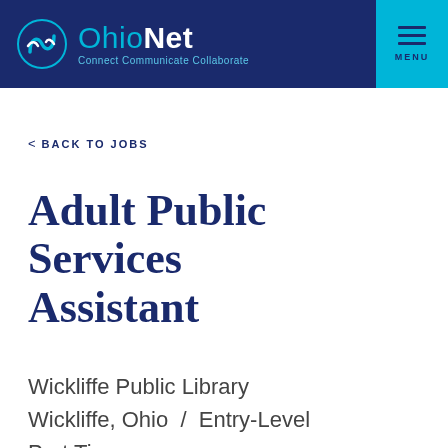OhioNet Connect Communicate Collaborate | MENU
< BACK TO JOBS
Adult Public Services Assistant
Wickliffe Public Library
Wickliffe, Ohio  /  Entry-Level
Part Time